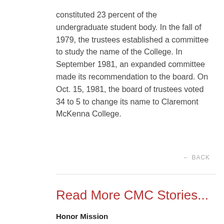constituted 23 percent of the undergraduate student body. In the fall of 1979, the trustees established a committee to study the name of the College. In September 1981, an expanded committee made its recommendation to the board. On Oct. 15, 1981, the board of trustees voted 34 to 5 to change its name to Claremont McKenna College.
← BACK
Read More CMC Stories...
Honor Mission